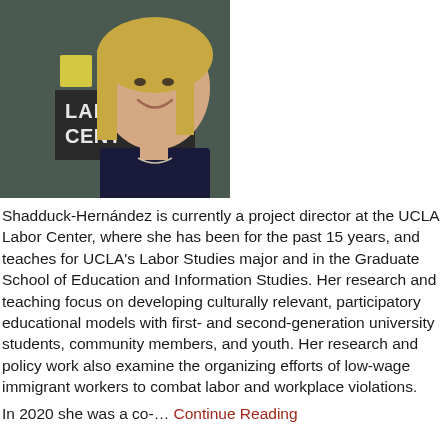[Figure (photo): Portrait photo of a smiling blonde woman standing in front of a sign reading 'LABOR CENTER']
Shadduck-Hernández is currently a project director at the UCLA Labor Center, where she has been for the past 15 years, and teaches for UCLA's Labor Studies major and in the Graduate School of Education and Information Studies. Her research and teaching focus on developing culturally relevant, participatory educational models with first- and second-generation university students, community members, and youth. Her research and policy work also examine the organizing efforts of low-wage immigrant workers to combat labor and workplace violations.
In 2020 she was a co-... Continue Reading